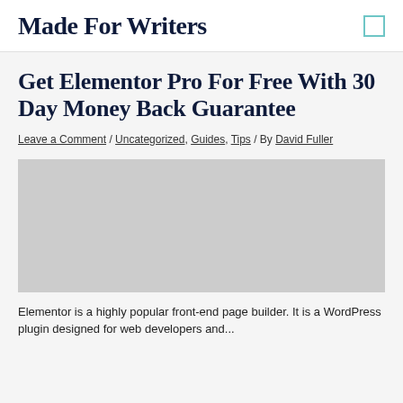Made For Writers
Get Elementor Pro For Free With 30 Day Money Back Guarantee
Leave a Comment / Uncategorized, Guides, Tips / By David Fuller
[Figure (photo): Large image placeholder (gray rectangle)]
Elementor is a highly popular front-end page builder.  It is a WordPress plugin designed for web developers and...